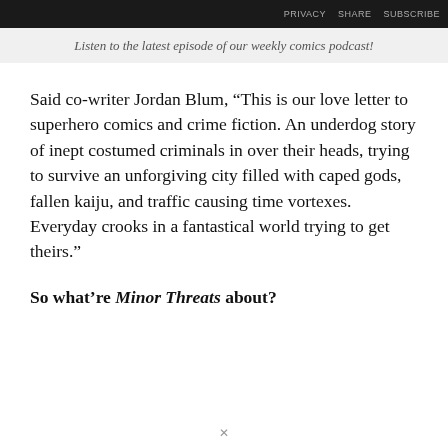PRIVACY  SHARE  SUBSCRIBE
Listen to the latest episode of our weekly comics podcast!
Said co-writer Jordan Blum, “This is our love letter to superhero comics and crime fiction. An underdog story of inept costumed criminals in over their heads, trying to survive an unforgiving city filled with caped gods, fallen kaiju, and traffic causing time vortexes. Everyday crooks in a fantastical world trying to get theirs.”
So what’re Minor Threats about?